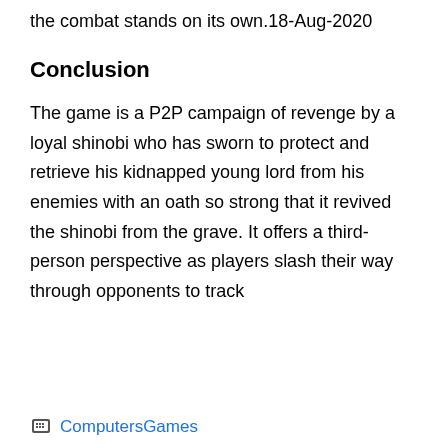the combat stands on its own.18-Aug-2020
Conclusion
The game is a P2P campaign of revenge by a loyal shinobi who has sworn to protect and retrieve his kidnapped young lord from his enemies with an oath so strong that it revived the shinobi from the grave. It offers a third-person perspective as players slash their way through opponents to track
ComputersGames